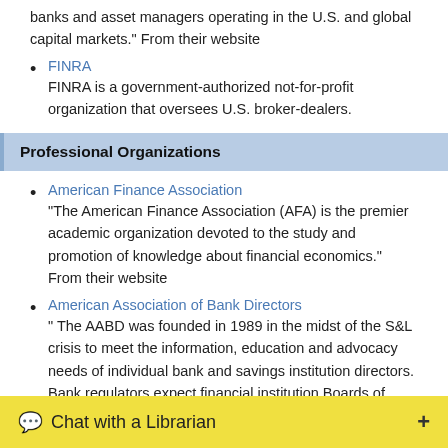banks and asset managers operating in the U.S. and global capital markets." From their website
FINRA — FINRA is a government-authorized not-for-profit organization that oversees U.S. broker-dealers.
Professional Organizations
American Finance Association — "The American Finance Association (AFA) is the premier academic organization devoted to the study and promotion of knowledge about financial economics." From their website
American Association of Bank Directors — " The AABD was founded in 1989 in the midst of the S&L crisis to meet the information, education and advocacy needs of individual bank and savings institution directors. Bank regulators expect financial institution Boards of Directors to make informed policy decisions and to act independently to supervise the institution. " From their website
Chat with a Librarian +